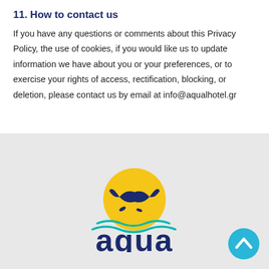11. How to contact us
If you have any questions or comments about this Privacy Policy, the use of cookies, if you would like us to update information we have about you or your preferences, or to exercise your rights of access, rectification, blocking, or deletion, please contact us by email at info@aqualhotel.gr
[Figure (logo): Aqua hotel logo featuring a yellow sun with a blue whale tail silhouette, teal wave lines below, and the text 'aqua' in large dark blue rounded letters. A cyan back-to-top arrow button is in the bottom right corner.]